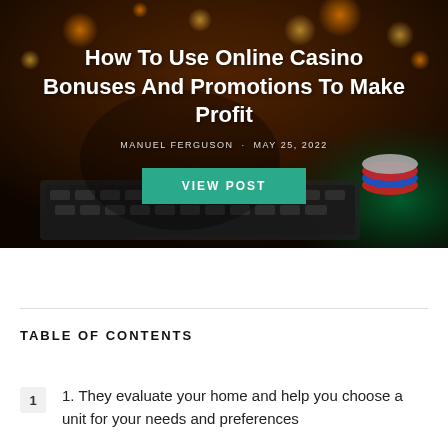[Figure (photo): Hero image showing hands holding casino chips over a laptop keyboard, with colorful casino chips in the background. Dark warm-toned photo with bokeh lighting effects. Title text overlay reads 'How To Use Online Casino Bonuses And Promotions To Make Profit', author 'MANUEL FERGUSON', date 'MAY 25, 2022', and a teal 'VIEW POST' button.]
How To Use Online Casino Bonuses And Promotions To Make Profit
MANUEL FERGUSON · MAY 25, 2022
TABLE OF CONTENTS
1  1. They evaluate your home and help you choose a unit for your needs and preferences